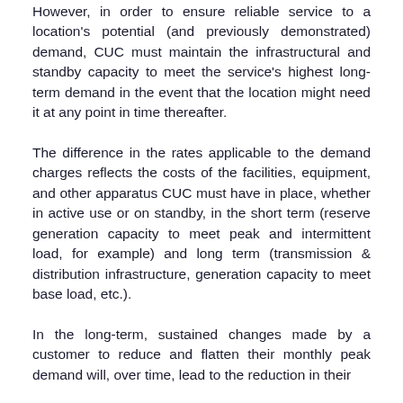However, in order to ensure reliable service to a location's potential (and previously demonstrated) demand, CUC must maintain the infrastructural and standby capacity to meet the service's highest long-term demand in the event that the location might need it at any point in time thereafter.
The difference in the rates applicable to the demand charges reflects the costs of the facilities, equipment, and other apparatus CUC must have in place, whether in active use or on standby, in the short term (reserve generation capacity to meet peak and intermittent load, for example) and long term (transmission & distribution infrastructure, generation capacity to meet base load, etc.).
In the long-term, sustained changes made by a customer to reduce and flatten their monthly peak demand will, over time, lead to the reduction in their additional capacity costs and eventually reduced demand charges.